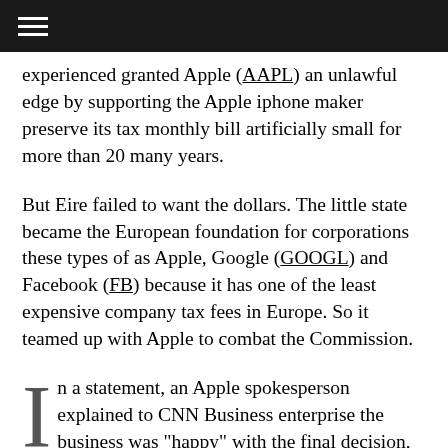☰
experienced granted Apple (AAPL) an unlawful edge by supporting the Apple iphone maker preserve its tax monthly bill artificially small for more than 20 many years.
But Eire failed to want the dollars. The little state became the European foundation for corporations these types of as Apple, Google (GOOGL) and Facebook (FB) because it has one of the least expensive company tax fees in Europe. So it teamed up with Apple to combat the Commission.
In a statement, an Apple spokesperson explained to CNN Business enterprise the business was "happy" with the final decision, arguing that the